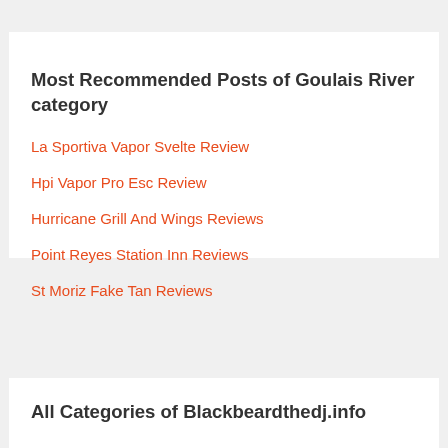Most Recommended Posts of Goulais River category
La Sportiva Vapor Svelte Review
Hpi Vapor Pro Esc Review
Hurricane Grill And Wings Reviews
Point Reyes Station Inn Reviews
St Moriz Fake Tan Reviews
All Categories of Blackbeardthedj.info